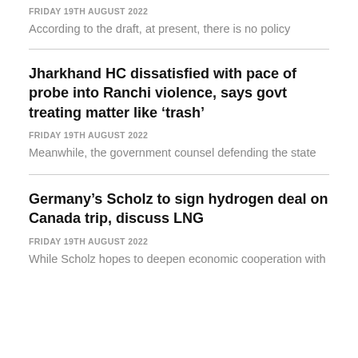FRIDAY 19TH AUGUST 2022
According to the draft, at present, there is no policy
Jharkhand HC dissatisfied with pace of probe into Ranchi violence, says govt treating matter like ‘trash’
FRIDAY 19TH AUGUST 2022
Meanwhile, the government counsel defending the state
Germany’s Scholz to sign hydrogen deal on Canada trip, discuss LNG
FRIDAY 19TH AUGUST 2022
While Scholz hopes to deepen economic cooperation with